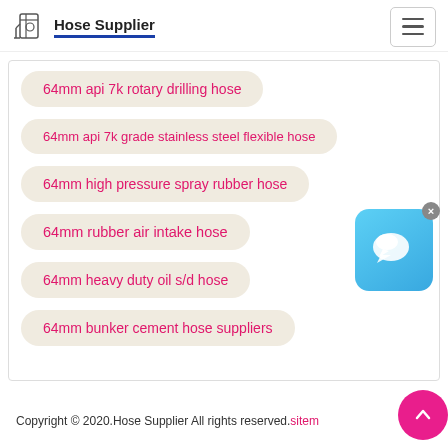Hose Supplier
64mm api 7k rotary drilling hose
64mm api 7k grade stainless steel flexible hose
64mm high pressure spray rubber hose
64mm rubber air intake hose
64mm heavy duty oil s/d hose
64mm bunker cement hose suppliers
[Figure (illustration): Chat widget icon with speech bubble on blue gradient background, with an X close button]
Copyright © 2020.Hose Supplier All rights reserved.sitemap